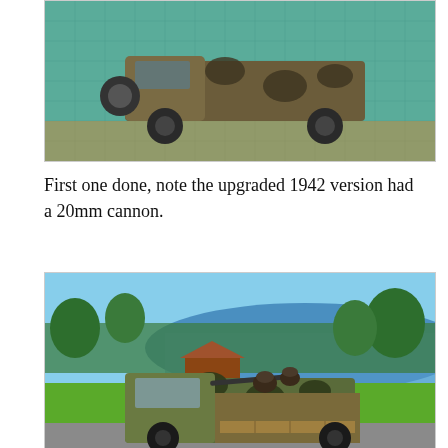[Figure (photo): A painted military miniature vehicle with camouflage paint on a green cutting mat background, shown from above/side angle.]
First one done, note the upgraded 1942 version had a 20mm cannon.
[Figure (photo): A painted military miniature truck/vehicle with camouflage pattern and soldier figures in the back, photographed outdoors near a lake with green landscape background.]